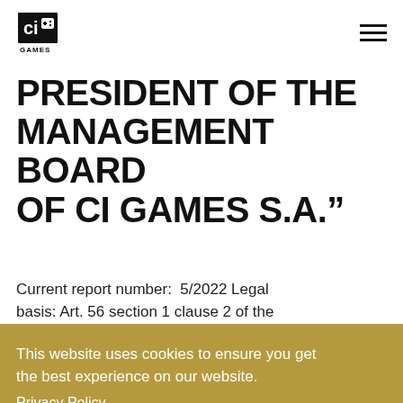CI Games logo and navigation menu
PRESIDENT OF THE MANAGEMENT BOARD OF CI GAMES S.A.”
Current report number:  5/2022 Legal basis: Art. 56 section 1 clause 2 of the
This website uses cookies to ensure you get the best experience on our website. Privacy Policy Accept